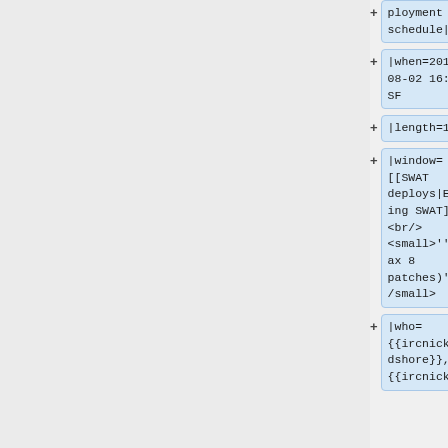ployment schedule|row
|when=2017-08-02 16:00 SF
|length=1
|window=[[SWAT deploys|Evening SWAT]]<br/><small>'''(Max 8 patches)'''</small>
|who={{ircnick|addshore}}, {{ircnick|ba